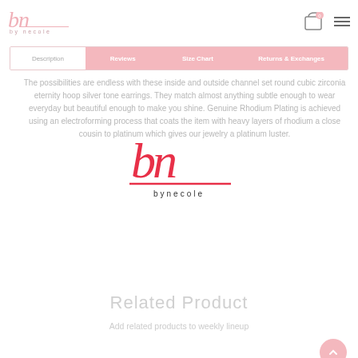by necole
Description | Reviews | Size Chart | Returns & Exchanges
The possibilities are endless with these inside and outside channel set round cubic zirconia eternity hoop silver tone earrings. They match almost anything subtle enough to wear everyday but beautiful enough to make you shine. Genuine Rhodium Plating is achieved using an electroforming process that coats the item with heavy layers of rhodium a close cousin to platinum which gives our jewelry a platinum luster.
[Figure (logo): by necole signature logo in red script with underline and 'bynecole' text]
Related Product
Add related products to weekly lineup